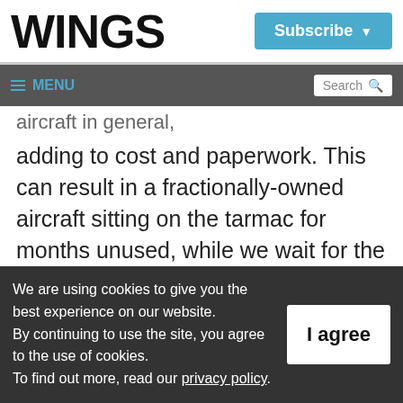WINGS
Subscribe
MENU | Search
aircraft in general,
adding to cost and paperwork. This can result in a fractionally-owned aircraft sitting on the tarmac for months unused, while we wait for the documentation to be approved.
Businesspeople are impatient by nature;
We are using cookies to give you the best experience on our website. By continuing to use the site, you agree to the use of cookies. To find out more, read our privacy policy.
I agree